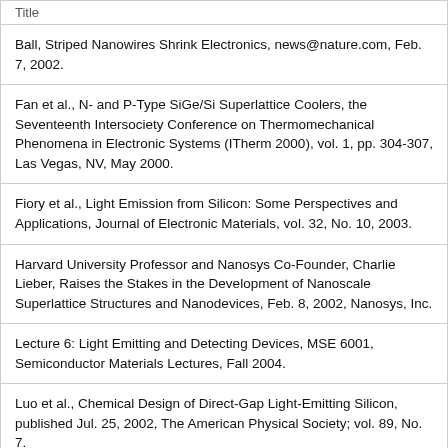| Title |
| --- |
| Ball, Striped Nanowires Shrink Electronics, news@nature.com, Feb. 7, 2002. |
| Fan et al., N- and P-Type SiGe/Si Superlattice Coolers, the Seventeenth Intersociety Conference on Thermomechanical Phenomena in Electronic Systems (ITherm 2000), vol. 1, pp. 304-307, Las Vegas, NV, May 2000. |
| Fiory et al., Light Emission from Silicon: Some Perspectives and Applications, Journal of Electronic Materials, vol. 32, No. 10, 2003. |
| Harvard University Professor and Nanosys Co-Founder, Charlie Lieber, Raises the Stakes in the Development of Nanoscale Superlattice Structures and Nanodevices, Feb. 8, 2002, Nanosys, Inc. |
| Lecture 6: Light Emitting and Detecting Devices, MSE 6001, Semiconductor Materials Lectures, Fall 2004. |
| Luo et al., Chemical Design of Direct-Gap Light-Emitting Silicon, published Jul. 25, 2002, The American Physical Society; vol. 89, No. 7. |
| Novikov et al., Silicon-based Optoelectronics, 1999-2003, pp. 1-6. |